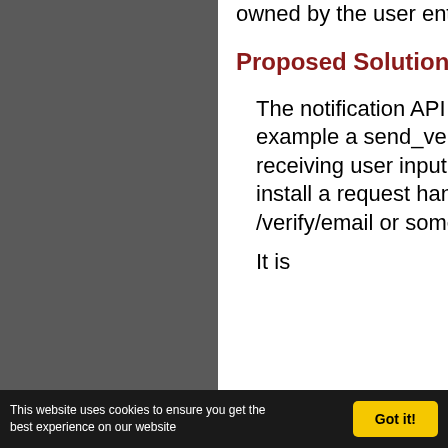owned by the user entering it.
Proposed Solution / Implementation
The notification API can be extended by for example a send_verification_mail() and for receiving user input, the same subsystem can install a request handler for this, say /verify/email or something like that.
It is
This website uses cookies to ensure you get the best experience on our website  Got it!